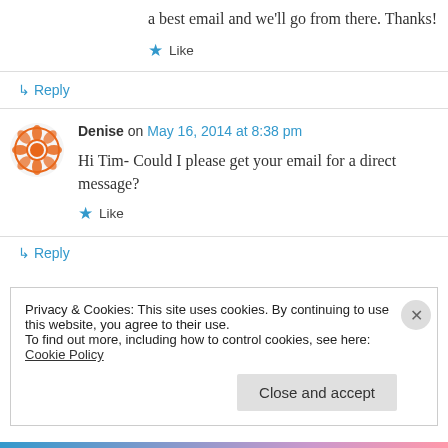a best email and we'll go from there. Thanks!
★ Like
↳ Reply
Denise on May 16, 2014 at 8:38 pm
Hi Tim- Could I please get your email for a direct message?
★ Like
Privacy & Cookies: This site uses cookies. By continuing to use this website, you agree to their use.
To find out more, including how to control cookies, see here: Cookie Policy
Close and accept